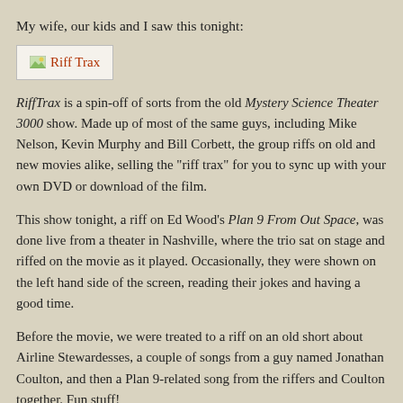My wife, our kids and I saw this tonight:
[Figure (illustration): Riff Trax logo image placeholder in a white box with red text label 'Riff Trax']
RiffTrax is a spin-off of sorts from the old Mystery Science Theater 3000 show. Made up of most of the same guys, including Mike Nelson, Kevin Murphy and Bill Corbett, the group riffs on old and new movies alike, selling the "riff trax" for you to sync up with your own DVD or download of the film.
This show tonight, a riff on Ed Wood's Plan 9 From Out Space, was done live from a theater in Nashville, where the trio sat on stage and riffed on the movie as it played. Occasionally, they were shown on the left hand side of the screen, reading their jokes and having a good time.
Before the movie, we were treated to a riff on an old short about Airline Stewardesses, a couple of songs from a guy named Jonathan Coulton, and then a Plan 9-related song from the riffers and Coulton together. Fun stuff!